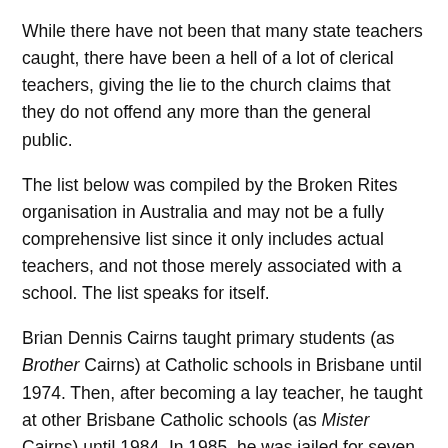While there have not been that many state teachers caught, there have been a hell of a lot of clerical teachers, giving the lie to the church claims that they do not offend any more than the general public.
The list below was compiled by the Broken Rites organisation in Australia and may not be a fully comprehensive list since it only includes actual teachers, and not those merely associated with a school. The list speaks for itself.
Brian Dennis Cairns taught primary students (as Brother Cairns) at Catholic schools in Brisbane until 1974. Then, after becoming a lay teacher, he taught at other Brisbane Catholic schools (as Mister Cairns) until 1984. In 1985, he was jailed for seven years for committing serious sexual offences against schoolboys over several years.